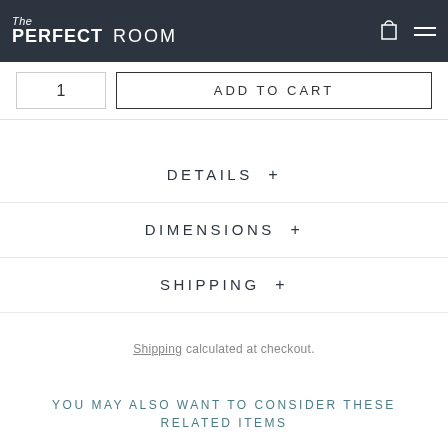The PERFECT ROOM
1  ADD TO CART
DETAILS +
DIMENSIONS +
SHIPPING +
Shipping calculated at checkout.
[Figure (illustration): Share icon (three dots connected)]
YOU MAY ALSO WANT TO CONSIDER THESE RELATED ITEMS